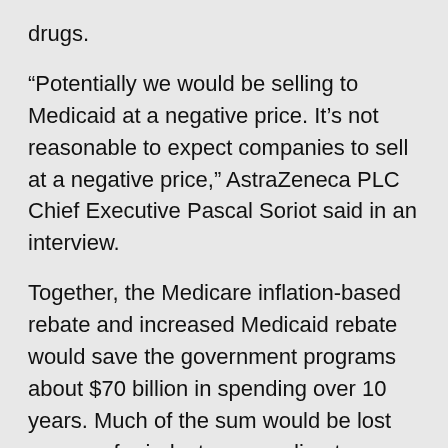drugs.
“Potentially we would be selling to Medicaid at a negative price. It’s not reasonable to expect companies to sell at a negative price,” AstraZeneca PLC Chief Executive Pascal Soriot said in an interview.
Together, the Medicare inflation-based rebate and increased Medicaid rebate would save the government programs about $70 billion in spending over 10 years. Much of the sum would be lost revenue for industry, according to Moody’s Investors Service.
The industry’s biggest trade group, the Pharmaceutical Research and Manufacturers of America, has spent $16.3 million on lobbying during the first six months this year, after spending $28 million for all of 2018, according to the Center for Responsive Politics, which tracks lobbying spending. BIO spent $6 million on lobbying during the first